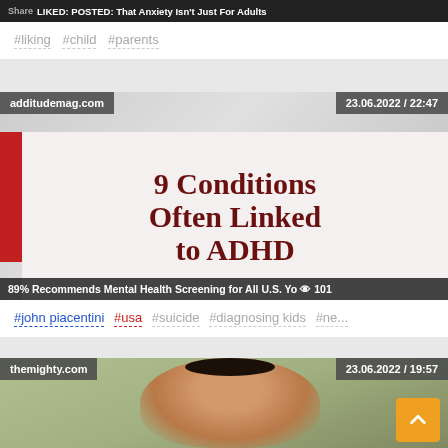[Figure (screenshot): Partial top card showing dark image bar with truncated article title text and share/like UI]
#liking  #child  #parents
[Figure (screenshot): Article thumbnail from additudemag.com dated 23.06.2022 / 22:47 showing '9 Conditions Often Linked to ADHD' with overlay text 'Recommends Mental Health Screening for All U.S. Youth', 89% and eye icon 101]
#john piacentini  #usa  #suicide  #diagnosing kids  #ne...
[Figure (photo): Article thumbnail from themighty.com dated 23.06.2022 / 19:57 showing a smiling young Black girl with hair accessories and a scroll-to-top orange button]